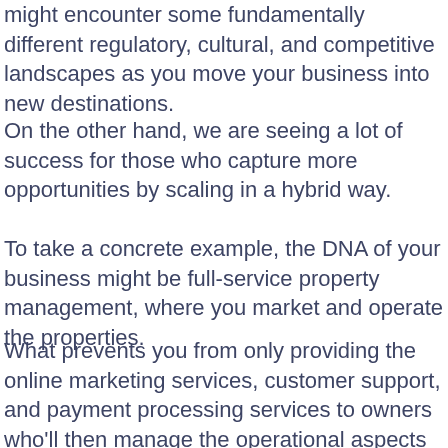might encounter some fundamentally different regulatory, cultural, and competitive landscapes as you move your business into new destinations.
On the other hand, we are seeing a lot of success for those who capture more opportunities by scaling in a hybrid way.
To take a concrete example, the DNA of your business might be full-service property management, where you market and operate the properties.
What prevents you from only providing the online marketing services, customer support, and payment processing services to owners who'll then manage the operational aspects of the bookings?